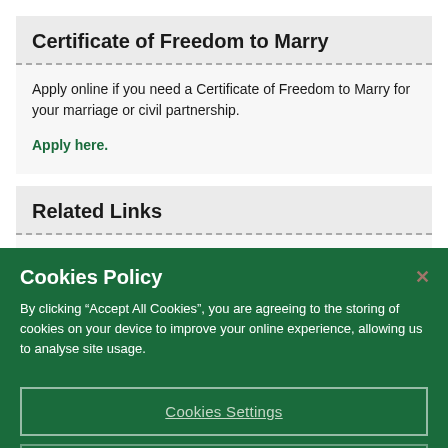Certificate of Freedom to Marry
Apply online if you need a Certificate of Freedom to Marry for your marriage or civil partnership.
Apply here.
Related Links
Citizens Information: Getting married abroad
Cookies Policy
By clicking “Accept All Cookies”, you are agreeing to the storing of cookies on your device to improve your online experience, allowing us to analyse site usage.
Cookies Settings
Reject All Optional Cookies